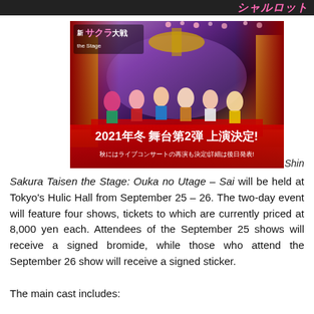[Figure (photo): Stage performance promotional image for Shin Sakura Taisen the Stage showing performers in colorful costumes on a grand stage. The image has Japanese text overlay reading '2021年冬 舞台第2弾 上演決定!' and '秋にはライブコンサートの再演も決定!詳細は後日発表!' on a red banner at the bottom. The Shin Sakura Taisen the Stage logo is in the top-left corner.]
Shin Sakura Taisen the Stage: Ouka no Utage – Sai will be held at Tokyo's Hulic Hall from September 25 – 26. The two-day event will feature four shows, tickets to which are currently priced at 8,000 yen each. Attendees of the September 25 shows will receive a signed bromide, while those who attend the September 26 show will receive a signed sticker.
The main cast includes: